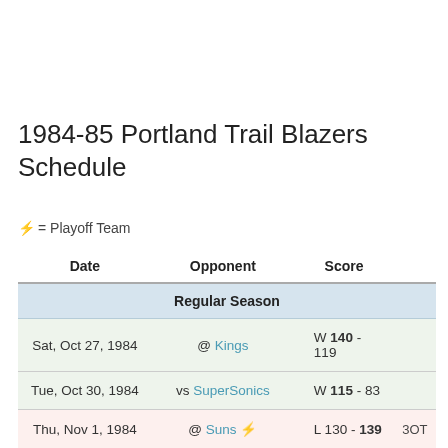1984-85 Portland Trail Blazers Schedule
⚡ = Playoff Team
| Date | Opponent | Score |  |
| --- | --- | --- | --- |
| Regular Season |  |  |  |
| Sat, Oct 27, 1984 | @ Kings | W 140 - 119 |  |
| Tue, Oct 30, 1984 | vs SuperSonics | W 115 - 83 |  |
| Thu, Nov 1, 1984 | @ Suns ⚡ | L 130 - 139 | 3OT |